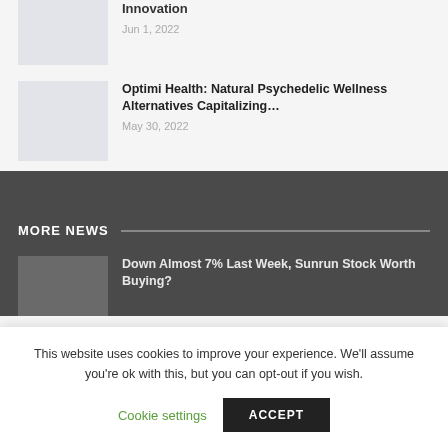[Figure (photo): Placeholder thumbnail image, gray background]
Innovation
Jun 1, 2022
[Figure (photo): Placeholder thumbnail image, gray background]
Optimi Health: Natural Psychedelic Wellness Alternatives Capitalizing…
May 30, 2022
MORE NEWS
[Figure (photo): Placeholder thumbnail image, dark gray background]
Down Almost 7% Last Week, Sunrun Stock Worth Buying?
This website uses cookies to improve your experience. We'll assume you're ok with this, but you can opt-out if you wish.
Cookie settings
ACCEPT